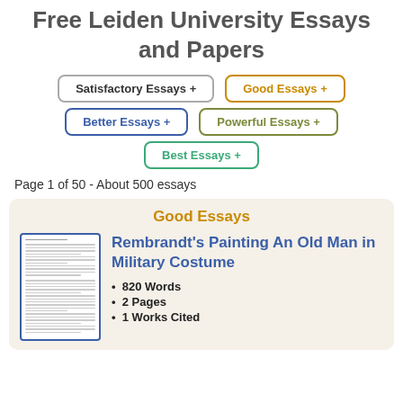Free Leiden University Essays and Papers
Satisfactory Essays +
Good Essays +
Better Essays +
Powerful Essays +
Best Essays +
Page 1 of 50 - About 500 essays
Good Essays
Rembrandt's Painting An Old Man in Military Costume
820 Words
2 Pages
1 Works Cited